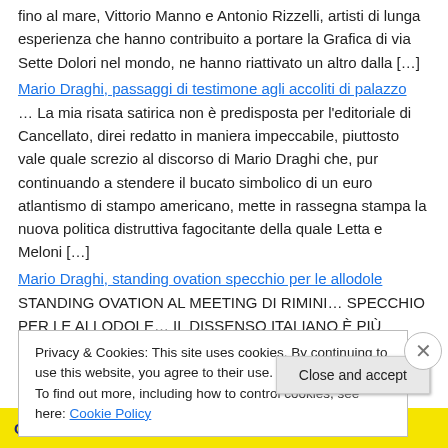fino al mare, Vittorio Manno e Antonio Rizzelli, artisti di lunga esperienza che hanno contribuito a portare la Grafica di via Sette Dolori nel mondo, ne hanno riattivato un altro dalla […]
Mario Draghi, passaggi di testimone agli accoliti di palazzo
… La mia risata satirica non è predisposta per l'editoriale di Cancellato, direi redatto in maniera impeccabile, piuttosto vale quale screzio al discorso di Mario Draghi che, pur continuando a stendere il bucato simbolico di un euro atlantismo di stampo americano, mette in rassegna stampa la nuova politica distruttiva fagocitante della quale Letta e Meloni […]
Mario Draghi, standing ovation specchio per le allodole
STANDING OVATION AL MEETING DI RIMINI… SPECCHIO PER LE ALLODOLE… IL DISSENSO ITALIANO È PIÙ FORTE DELL'OMERTÀ
Privacy & Cookies: This site uses cookies. By continuing to use this website, you agree to their use.
To find out more, including how to control cookies, see here: Cookie Policy
Close and accept
Collaborate, P2.